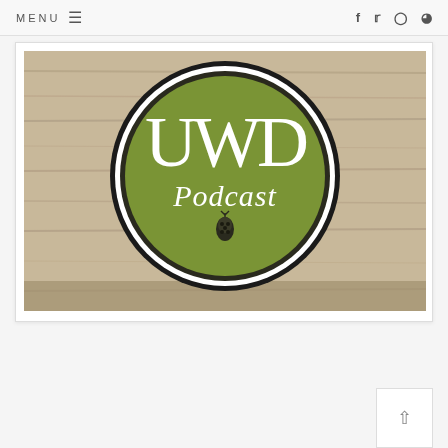MENU ≡  f  t  instagram  rss
[Figure (logo): UWD Podcast logo: circular green badge with white lettering 'UWD' and 'Podcast' in cursive, with a hop cone icon, on a wooden table background.]